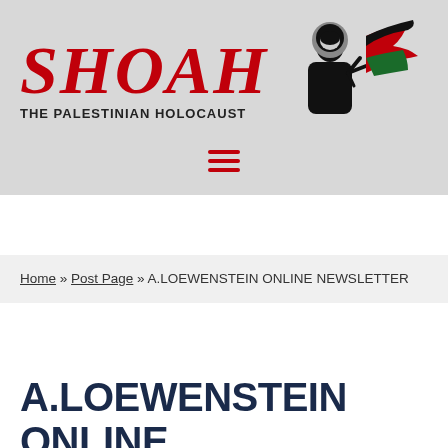[Figure (logo): SHOAH - THE PALESTINIAN HOLOCAUST logo with red dripping text and figure with Palestinian flag]
Home » Post Page » A.LOEWENSTEIN ONLINE NEWSLETTER
A.LOEWENSTEIN ONLINE